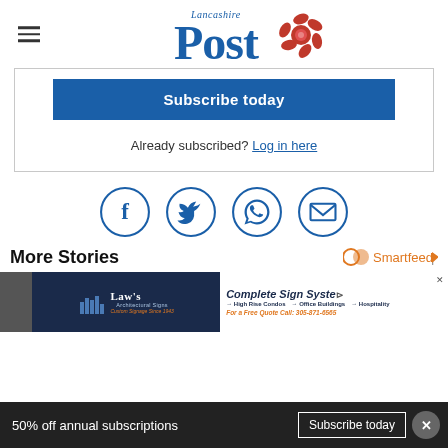Lancashire Post
Subscribe today
Already subscribed? Log in here
[Figure (infographic): Four social sharing icons in circles: Facebook, Twitter, WhatsApp, Email]
More Stories
[Figure (infographic): Smartfeed logo badge]
[Figure (photo): Advertisement banner: Law's Architectural Signs - Complete Sign Systems. Custom Signage Since 1943. High Rise Condos, Office Buildings, Hospitality. For a Free Quote Call: 305-871-6565]
50% off annual subscriptions
Subscribe today